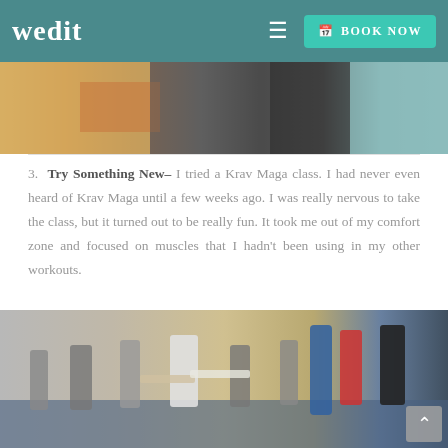wedit  ≡  BOOK NOW
[Figure (photo): Close-up photo of people exercising, showing legs and midsections during a workout class]
3.  Try Something New– I tried a Krav Maga class. I had never even heard of Krav Maga until a few weeks ago. I was really nervous to take the class, but it turned out to be really fun. It took me out of my comfort zone and focused on muscles that I hadn't been using in my other workouts.
[Figure (photo): Photo of a Krav Maga class in a gym/training facility. Students and an instructor in a white shirt are practicing punching techniques in a large warehouse-style space with blue mats on the floor.]